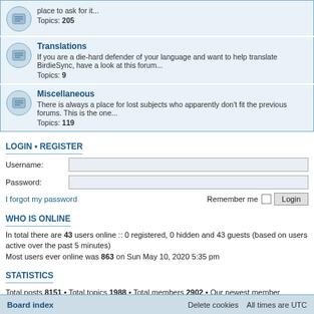place to ask for it... Topics: 205
Translations
If you are a die-hard defender of your language and want to help translate BirdieSync, have a look at this forum... Topics: 9
Miscellaneous
There is always a place for lost subjects who apparently don't fit the previous forums. This is the one... Topics: 119
LOGIN • REGISTER
Username:
Password:
I forgot my password
Remember me
WHO IS ONLINE
In total there are 43 users online :: 0 registered, 0 hidden and 43 guests (based on users active over the past 5 minutes)
Most users ever online was 863 on Sun May 10, 2020 5:35 pm
STATISTICS
Total posts 8151 • Total topics 1988 • Total members 2902 • Our newest member bmaz121
Board index    Delete cookies   All times are UTC